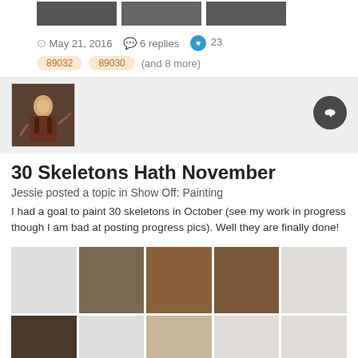[Figure (photo): Three small thumbnail images of painted miniature figures at top of page]
May 21, 2016   6 replies   23
89032   89030   (and 8 more)
[Figure (photo): Avatar image of a painted fantasy/RPG miniature figure]
30 Skeletons Hath November
Jessie posted a topic in Show Off: Painting
I had a goal to paint 30 skeletons in October (see my work in progress though I am bad at posting progress pics). Well they are finally done!
[Figure (photo): Grid of 10 photos showing painted miniature skeleton and fantasy figures arranged in two rows of 5]